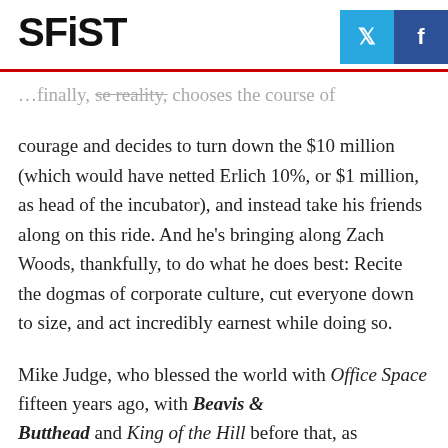SFiST
...finally, se reality, chooses the course of courage and decides to turn down the $10 million (which would have netted Erlich 10%, or $1 million, as head of the incubator), and instead take his friends along on this ride. And he's bringing along Zach Woods, thankfully, to do what he does best: Recite the dogmas of corporate culture, cut everyone down to size, and act incredibly earnest while doing so.
Mike Judge, who blessed the world with Office Space fifteen years ago, with Beavis & Butthead and King of the Hill before that, as